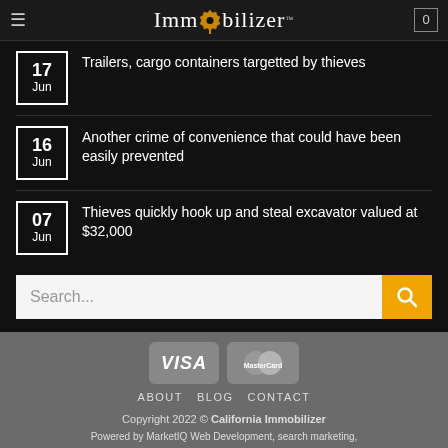Immobilizer
17 Jun – Trailers, cargo containers targetted by thieves
16 Jun – Another crime of convenience that could have been easily prevented
07 Jun – Thieves quickly hook up and steal excavator valued at $32,000
Search...
[Figure (logo): VISA and MasterCard payment icons]
ABOUT   BLOG   CONTACT
Copyright 2022 © California Immobilizer
Powered by MarketIQ Web Development, search marketing,